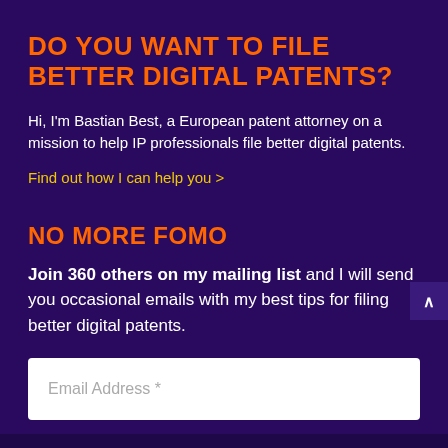DO YOU WANT TO FILE BETTER DIGITAL PATENTS?
Hi, I'm Bastian Best, a European patent attorney on a mission to help IP professionals file better digital patents.
Find out how I can help you >
NO MORE FOMO
Join 360 others on my mailing list and I will send you occasional emails with my best tips for filing better digital patents.
Email Address *